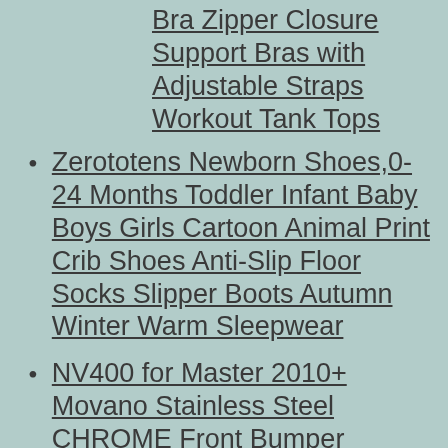Bra Zipper Closure Support Bras with Adjustable Straps Workout Tank Tops
Zerototens Newborn Shoes,0-24 Months Toddler Infant Baby Boys Girls Cartoon Animal Print Crib Shoes Anti-Slip Floor Socks Slipper Boots Autumn Winter Warm Sleepwear
NV400 for Master 2010+ Movano Stainless Steel CHROME Front Bumper Streamer 1 Pieces
Reliance Pressure and Temperature Relief Valve 4Bar 1/2 Tpr15
Daytesy Greenhouse Window Opener